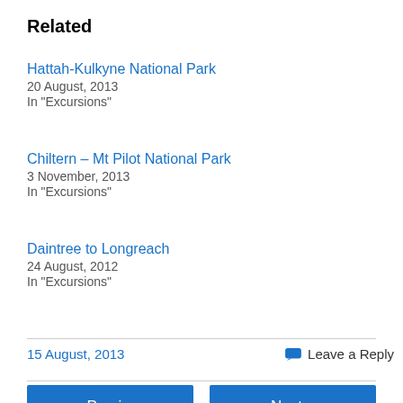Related
Hattah-Kulkyne National Park
20 August, 2013
In "Excursions"
Chiltern – Mt Pilot National Park
3 November, 2013
In "Excursions"
Daintree to Longreach
24 August, 2012
In "Excursions"
15 August, 2013
Leave a Reply
« Previous
Next »